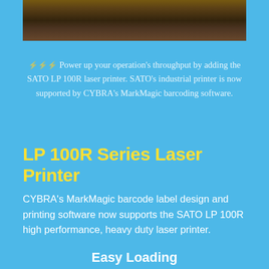[Figure (photo): Photo of a SATO LP 100R laser printer in an industrial setting, partially visible at the top of the page.]
⚡⚡⚡ Power up your operation's throughput by adding the SATO LP 100R laser printer. SATO's industrial printer is now supported by CYBRA's MarkMagic barcoding software.
LP 100R Series Laser Printer
CYBRA's MarkMagic barcode label design and printing software now supports the SATO LP 100R high performance, heavy duty laser printer.
Easy Loading